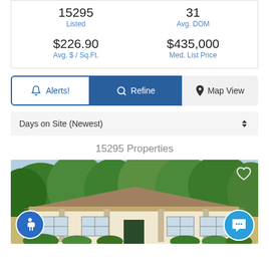15295 Listed
31 Avg. DOM
$226.90 Avg. $ / Sq.Ft.
$435,000 Med. List Price
Alerts!
Refine
Map View
Days on Site (Newest)
15295 Properties
[Figure (photo): Exterior photo of a single-story ranch-style house with white facade, covered porch with columns, surrounded by green trees and bushes. A heart icon appears top-right, accessibility icon bottom-left, chat button bottom-right.]